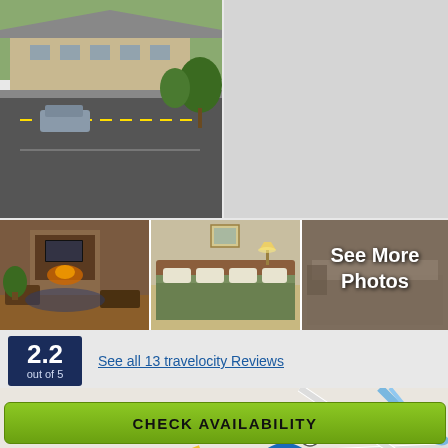[Figure (photo): Exterior view of hotel with parking lot, trees, and building]
[Figure (photo): Empty gray placeholder area (top right)]
[Figure (photo): Hotel lobby with stone fireplace and seating area]
[Figure (photo): Hotel room with green bedding and lamps]
[Figure (photo): Hotel room partially visible with See More Photos overlay text]
2.2 out of 5
See all 13 travelocity Reviews
[Figure (map): Street map showing hotel location with blue pin marker and route 150]
CHECK AVAILABILITY